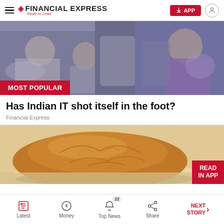FINANCIAL EXPRESS Read to Lead
[Figure (photo): Blurred office/transport scene with people in the background, used as hero image for article about Indian IT]
MOST POPULAR
Has Indian IT shot itself in the foot?
Financial Express
[Figure (photo): Close-up photo of a bread bun/burger bun on parchment paper with READ IN APP overlay]
Latest | Money | Top News (22) | Share | NEXT STORY